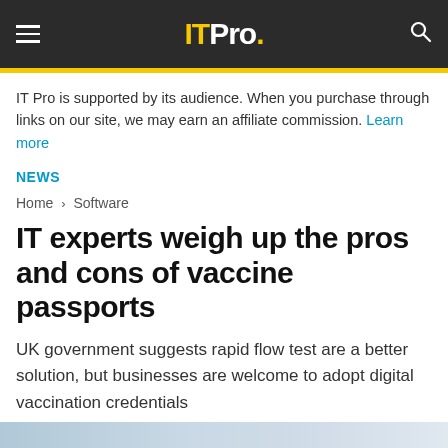IT Pro.
IT Pro is supported by its audience. When you purchase through links on our site, we may earn an affiliate commission. Learn more
NEWS
Home > Software
IT experts weigh up the pros and cons of vaccine passports
UK government suggests rapid flow test are a better solution, but businesses are welcome to adopt digital vaccination credentials
by: Bobby Hellard  16 Feb 2021